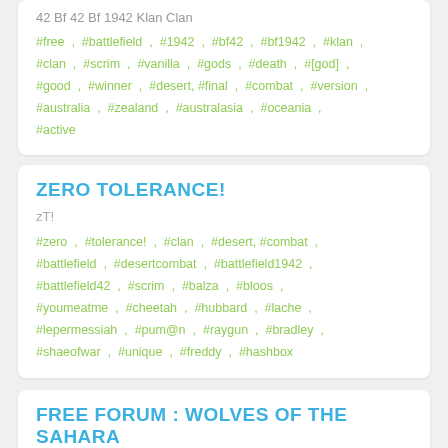42 Bf 42 Bf 1942 Klan Clan
#free , #battlefield , #1942 , #bf42 , #bf1942 , #klan , #clan , #scrim , #vanilla , #gods , #death , #[god] , #good , #winner , #desert, #final , #combat , #version , #australia , #zealand , #australasia , #oceania , #active
ZERO TOLERANCE!
zT!
#zero , #tolerance! , #clan , #desert, #combat , #battlefield , #desertcombat , #battlefield1942 , #battlefield42 , #scrim , #balza , #bloos , #youmeatme , #cheetah , #hubbard , #lache , #lepermessiah , #pum@n , #raygun , #bradley , #shaeofwar , #unique , #freddy , #hashbox
FREE FORUM : WOLVES OF THE SAHARA